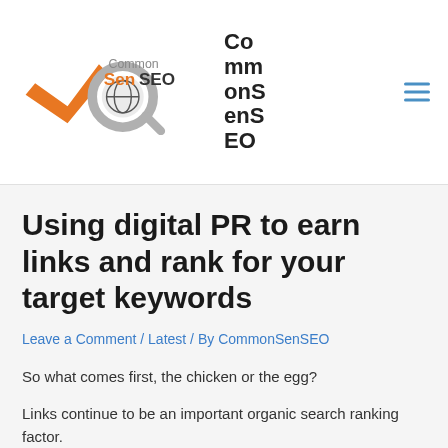[Figure (logo): CommonSenSEO logo with magnifying glass and checkmark icon, orange and gray colors, with the text 'Common SenSEO' and a globe icon]
CommonSenSEO
Using digital PR to earn links and rank for your target keywords
Leave a Comment / Latest / By CommonSenSEO
So what comes first, the chicken or the egg?
Links continue to be an important organic search ranking factor.